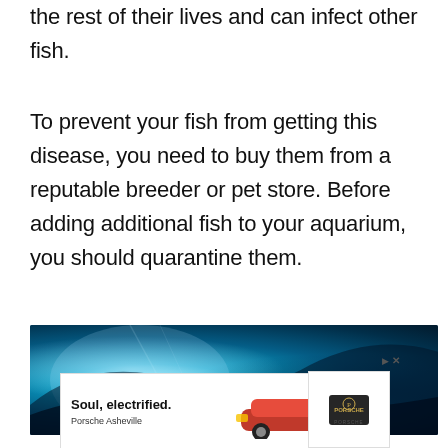the rest of their lives and can infect other fish.
To prevent your fish from getting this disease, you need to buy them from a reputable breeder or pet store. Before adding additional fish to your aquarium, you should quarantine them.
[Figure (photo): Underwater aquarium scene with blue glowing light effect, showing dark rocky or cave-like environment with teal and cyan illumination]
[Figure (other): Advertisement banner: Porsche Taycan car ad with text 'Soul, electrified.' and 'Porsche Asheville' with Porsche logo]